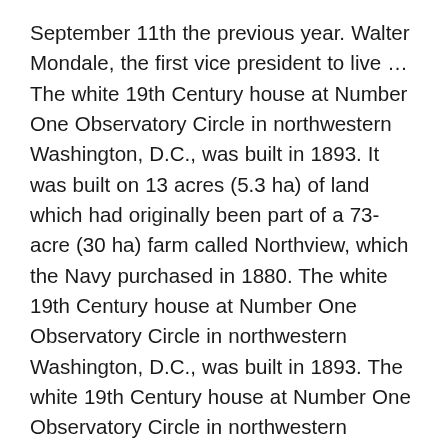September 11th the previous year. Walter Mondale, the first vice president to live … The white 19th Century house at Number One Observatory Circle in northwestern Washington, D.C., was built in 1893. It was built on 13 acres (5.3 ha) of land which had originally been part of a 73-acre (30 ha) farm called Northview, which the Navy purchased in 1880. The white 19th Century house at Number One Observatory Circle in northwestern Washington, D.C., was built in 1893. The white 19th Century house at Number One Observatory Circle in northwestern Washington, D.C., was built in 1893. Mondale's wife Joan had a passion for art and used the house to display her collection, George H.W. Author: Reagan Roy The past eight vice presidents have lived at 1 Observatory Circle. Author: Reagan Roy The first floor of the house includes the dining, garden, and living rooms, lounges, a pantry kitchen, a formal reception hall, a sitting room, and a wrap-around verandah. Thanks for contacting us. Although the picture above was taken after former Vice